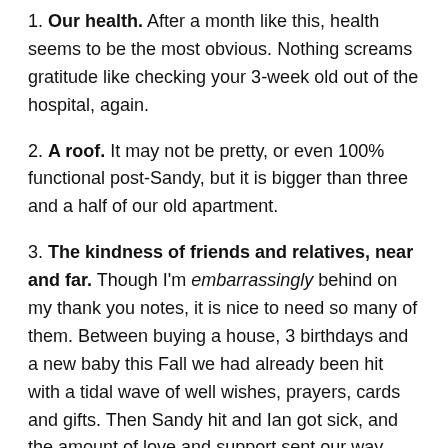1. Our health. After a month like this, health seems to be the most obvious. Nothing screams gratitude like checking your 3-week old out of the hospital, again.
2. A roof. It may not be pretty, or even 100% functional post-Sandy, but it is bigger than three and a half of our old apartment.
3. The kindness of friends and relatives, near and far. Though I'm embarrassingly behind on my thank you notes, it is nice to need so many of them. Between buying a house, 3 birthdays and a new baby this Fall we had already been hit with a tidal wave of well wishes, prayers, cards and gifts. Then Sandy hit and Ian got sick, and the amount of love and support sent our way was as powerful as any hurricane. Whether a kind card or phone call, a hot